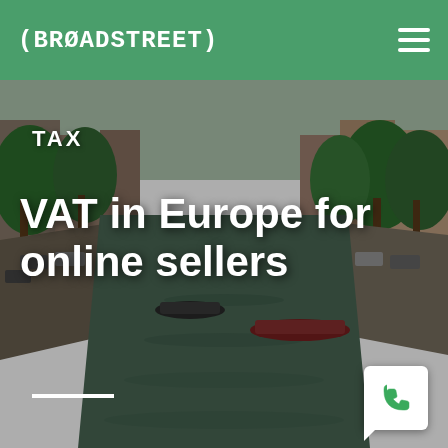(BROADSTREET)
[Figure (photo): Aerial view of an Amsterdam canal lined with trees, parked cars, boats on the water, and historic buildings on both sides.]
TAX
VAT in Europe for online sellers